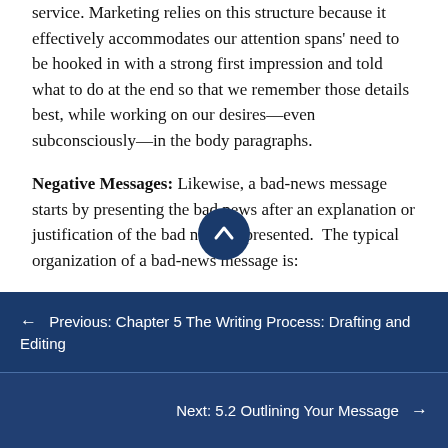service. Marketing relies on this structure because it effectively accommodates our attention spans' need to be hooked in with a strong first impression and told what to do at the end so that we remember those details best, while working on our desires—even subconsciously—in the body paragraphs.
Negative Messages: Likewise, a bad-news message starts by presenting the bad news after an explanation or justification of the bad news is presented. The typical organization of a bad-news message is:
1. Buffer offering some good news, positives, goodwill, or any other reason to keep reading.
← Previous: Chapter 5 The Writing Process: Drafting and Editing
Next: 5.2 Outlining Your Message →